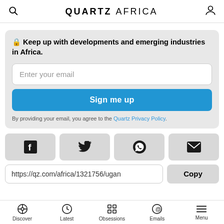QUARTZ AFRICA
🔒 Keep up with developments and emerging industries in Africa.
Enter your email
Sign me up
By providing your email, you agree to the Quartz Privacy Policy.
[Figure (other): Social share buttons row: Facebook, Twitter, WhatsApp, Email icons]
https://qz.com/africa/1321756/ugan
Copy
Discover | Latest | Obsessions | Emails | Menu